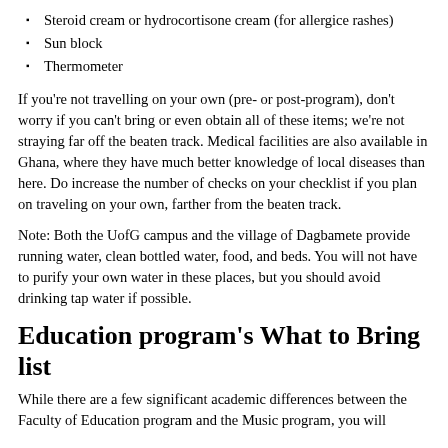Steroid cream or hydrocortisone cream (for allergice rashes)
Sun block
Thermometer
If you're not travelling on your own (pre- or post-program), don't worry if you can't bring or even obtain all of these items; we're not straying far off the beaten track. Medical facilities are also available in Ghana, where they have much better knowledge of local diseases than here. Do increase the number of checks on your checklist if you plan on traveling on your own, farther from the beaten track.
Note: Both the UofG campus and the village of Dagbamete provide running water, clean bottled water, food, and beds. You will not have to purify your own water in these places, but you should avoid drinking tap water if possible.
Education program's What to Bring list
While there are a few significant academic differences between the Faculty of Education program and the Music program, you will